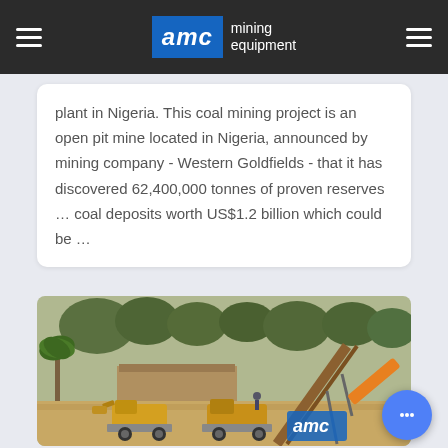AMC mining equipment
plant in Nigeria. This coal mining project is an open pit mine located in Nigeria, announced by mining company - Western Goldfields - that it has discovered 62,400,000 tonnes of proven reserves … coal deposits worth US$1.2 billion which could be …
[Figure (photo): Mining site in Nigeria showing front-end loaders, a conveyor belt system, palm trees, and buildings in the background. AMC logo watermark visible in the lower right corner.]